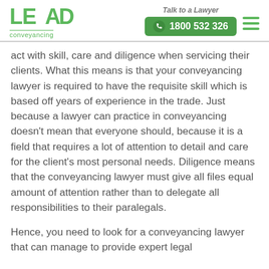LEAD conveyancing | Talk to a Lawyer | 1800 532 326
act with skill, care and diligence when servicing their clients. What this means is that your conveyancing lawyer is required to have the requisite skill which is based off years of experience in the trade. Just because a lawyer can practice in conveyancing doesn’t mean that everyone should, because it is a field that requires a lot of attention to detail and care for the client’s most personal needs. Diligence means that the conveyancing lawyer must give all files equal amount of attention rather than to delegate all responsibilities to their paralegals.
Hence, you need to look for a conveyancing lawyer that can manage to provide expert legal